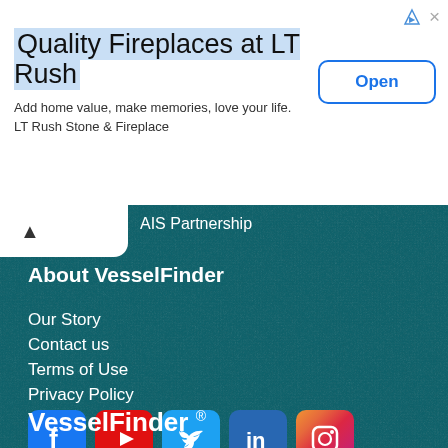[Figure (screenshot): Advertisement banner for LT Rush fireplaces with blue highlighted title, subtext, and Open button]
Quality Fireplaces at LT Rush
Add home value, make memories, love your life.
LT Rush Stone & Fireplace
AIS Partnership
About VesselFinder
Our Story
Contact us
Terms of Use
Privacy Policy
[Figure (infographic): Social media icons row: Facebook, YouTube, Twitter, LinkedIn, Instagram]
VesselFinder ®